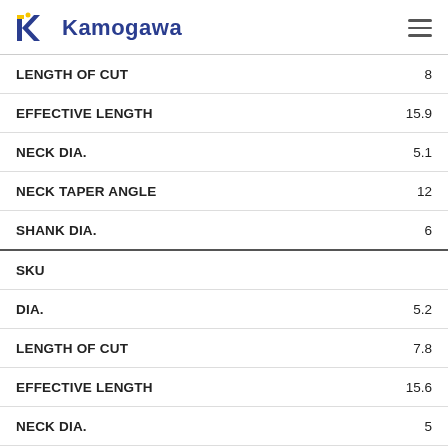Kamogawa
| Specification | Value |
| --- | --- |
| LENGTH OF CUT | 8 |
| EFFECTIVE LENGTH | 15.9 |
| NECK DIA. | 5.1 |
| NECK TAPER ANGLE | 12 |
| SHANK DIA. | 6 |
| SKU |  |
| DIA. | 5.2 |
| LENGTH OF CUT | 7.8 |
| EFFECTIVE LENGTH | 15.6 |
| NECK DIA. | 5 |
| NECK TAPER ANGLE | 12 |
| SHANK DIA. | 6 |